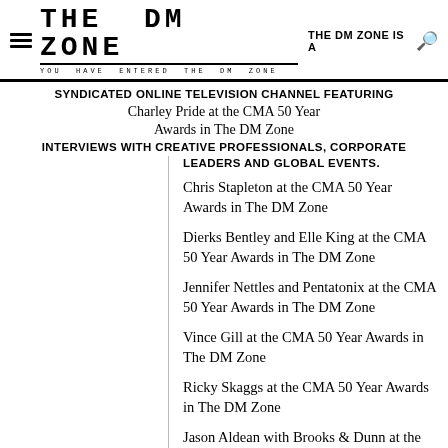THE DM ZONE — YOU HAVE ENTERED THE DM ZONE — THE DM ZONE IS A
SYNDICATED ONLINE TELEVISION CHANNEL FEATURING INTERVIEWS WITH CREATIVE PROFESSIONALS, CORPORATE LEADERS AND GLOBAL EVENTS.
Charley Pride at the CMA 50 Year Awards in The DM Zone
Chris Stapleton at the CMA 50 Year Awards in The DM Zone
Dierks Bentley and Elle King at the CMA 50 Year Awards in The DM Zone
Jennifer Nettles and Pentatonix at the CMA 50 Year Awards in The DM Zone
Vince Gill at the CMA 50 Year Awards in The DM Zone
Ricky Skaggs at the CMA 50 Year Awards in The DM Zone
Jason Aldean with Brooks & Dunn at the CMA 50 Year Awards in The DM Zone